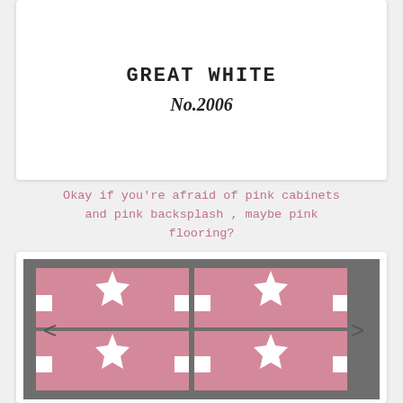[Figure (other): White card showing product name 'GREAT WHITE' and 'No.2006' in bold serif/monospace typography]
Okay if you're afraid of pink cabinets and pink backsplash , maybe pink flooring?
[Figure (photo): Pink and white star-pattern ceramic tiles arranged in a 2x2 grid on a gray background, with left and right navigation arrows]